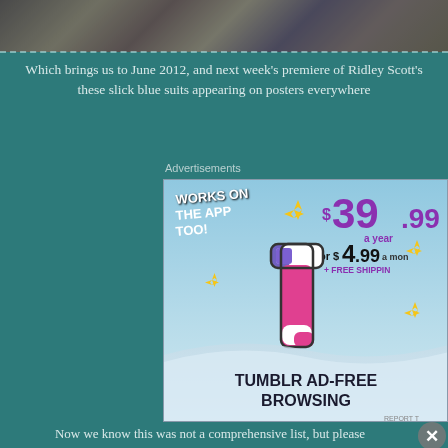[Figure (photo): Top strip showing people in dark clothing, partially visible at very top of page]
Which brings us to June 2012, and next week's premiere of Ridley Scott's these slick blue suits appearing on posters everywhere
Advertisements
[Figure (illustration): Tumblr Ad-Free Browsing advertisement showing the Tumblr logo, '$39.99 a year or $4.99 a month + FREE SHIPPING', 'WORKS ON THE APP TOO!' text, sparkle graphics on a sky-blue background]
Now we know this was not a comprehensive list, but please
Advertisements
[Figure (illustration): WordPress VIP advertisement banner with map background and 'Learn more →' button]